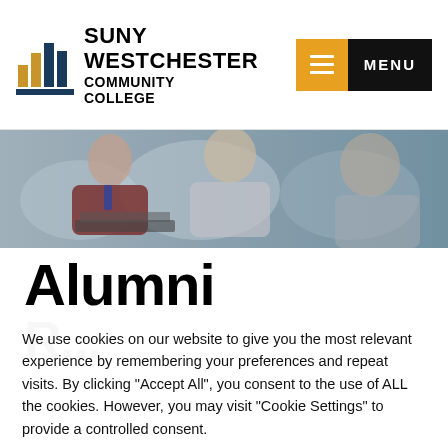[Figure (logo): SUNY Westchester Community College logo with bar chart icon and text]
[Figure (photo): Students working on laptops in a classroom, blurred background]
Alumni
R... (partially visible, cut off)
We use cookies on our website to give you the most relevant experience by remembering your preferences and repeat visits. By clicking "Accept All", you consent to the use of ALL the cookies. However, you may visit "Cookie Settings" to provide a controlled consent.
Cookie Settings | Accept All